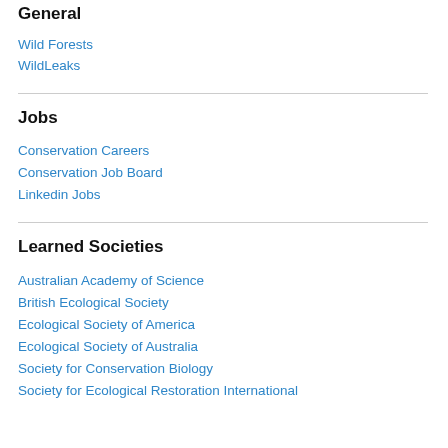General
Wild Forests
WildLeaks
Jobs
Conservation Careers
Conservation Job Board
Linkedin Jobs
Learned Societies
Australian Academy of Science
British Ecological Society
Ecological Society of America
Ecological Society of Australia
Society for Conservation Biology
Society for Ecological Restoration International